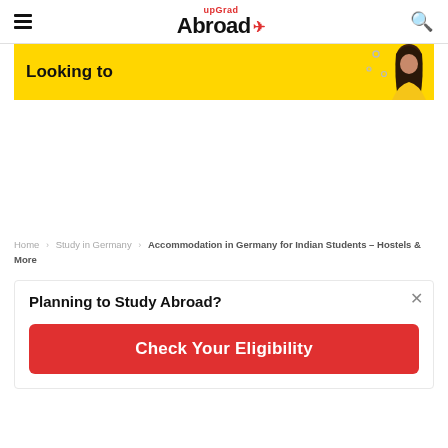upGrad Abroad
[Figure (illustration): Yellow banner advertisement with text 'Looking to' and a woman with dark hair on the right side against a yellow background]
Home › Study in Germany › Accommodation in Germany for Indian Students – Hostels & More
Planning to Study Abroad?
Check Your Eligibility